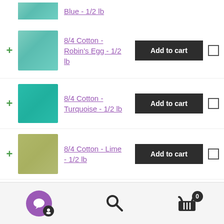Blue - 1/2 lb
8/4 Cotton - Robin's Egg - 1/2 lb
8/4 Cotton - Turquoise - 1/2 lb
8/4 Cotton - Lime - 1/2 lb
8/4 Cotton - Seaton - 1/2 lb
[Figure (screenshot): Bottom navigation bar with chat/support button (purple circle), search icon, and shopping cart with badge showing 0 items]